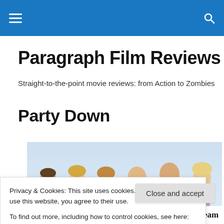≡  🔍
Paragraph Film Reviews
Straight-to-the-point movie reviews: from Action to Zombies
Party Down
[Figure (photo): Movie/TV show promotional image showing a group of cast members (Party Down) posed against a light blue background.]
Privacy & Cookies: This site uses cookies. By continuing to use this website, you agree to their use.
To find out more, including how to control cookies, see here: Cookie Policy
actors and writers. With most episodes having the team